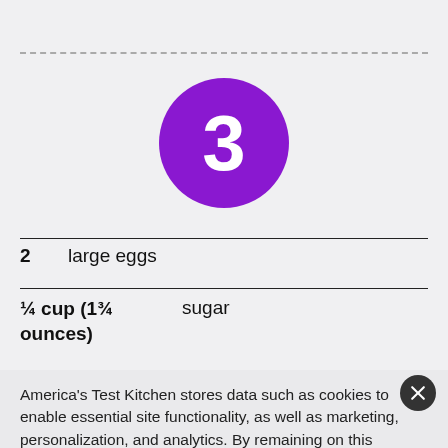[Figure (other): Purple circle badge with white number 3]
2   large eggs
¼ cup (1¾ ounces)   sugar
America's Test Kitchen stores data such as cookies to enable essential site functionality, as well as marketing, personalization, and analytics. By remaining on this website you indicate your consent. Data Storage Policy